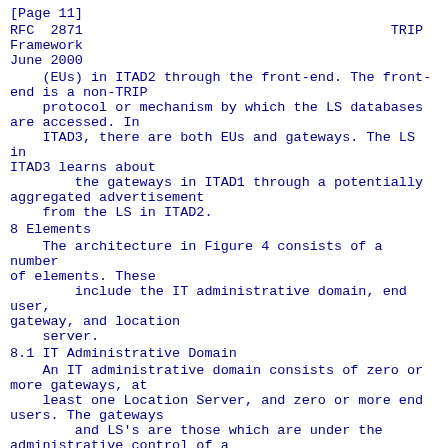[Page 11]
RFC 2871                                        TRIP Framework
June 2000
(EUs) in ITAD2 through the front-end. The front-end is a non-TRIP
    protocol or mechanism by which the LS databases are accessed. In
    ITAD3, there are both EUs and gateways. The LS in ITAD3 learns about
        the gateways in ITAD1 through a potentially aggregated advertisement
    from the LS in ITAD2.
8 Elements
The architecture in Figure 4 consists of a number of elements. These
        include the IT administrative domain, end user, gateway, and location
    server.
8.1 IT Administrative Domain
An IT administrative domain consists of zero or more gateways, at
    least one Location Server, and zero or more end users. The gateways
        and LS's are those which are under the administrative control of a
    single authority. This means that there is one authority responsible
    for dictating the policies and configuration of the gateways and